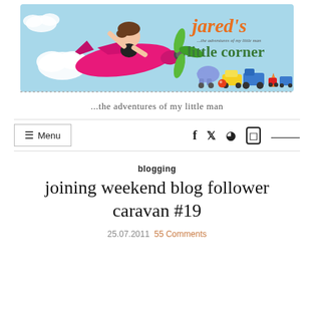[Figure (logo): Jared's Little Corner blog banner — cartoon child on a pink airplane with green propeller, colorful toy train and vehicles, sky blue background, text 'jared's little corner ...the adventures of my little man']
...the adventures of my little man
≡ Menu   f  🐦   pinterest  instagram  rss
blogging
joining weekend blog follower caravan #19
25.07.2011  55 Comments